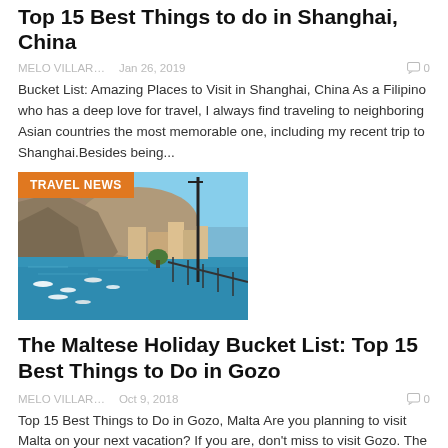Top 15 Best Things to do in Shanghai, China
MELO VILLAR…   Jan 26, 2019   💬 0
Bucket List: Amazing Places to Visit in Shanghai, China As a Filipino who has a deep love for travel, I always find traveling to neighboring Asian countries the most memorable one, including my recent trip to Shanghai.Besides being...
[Figure (photo): Aerial view of a Mediterranean harbour with boats and hillside buildings, with a TRAVEL NEWS badge overlay]
The Maltese Holiday Bucket List: Top 15 Best Things to Do in Gozo
MELO VILLAR…   Oct 9, 2018   💬 0
Top 15 Best Things to Do in Gozo, Malta Are you planning to visit Malta on your next vacation? If you are, don't miss to visit Gozo. The island is just a 20-minute ferry ride away from Cirkewwa, a harbour